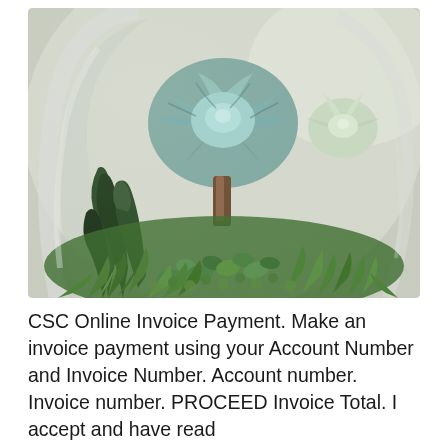[Figure (photo): A glass terrarium bowl containing various succulents and small green plants, photographed close-up showing a large blue-green rosette succulent in the center surrounded by smaller plants and greenery.]
CSC Online Invoice Payment. Make an invoice payment using your Account Number and Invoice Number. Account number. Invoice number. PROCEED Invoice Total. I accept and have read